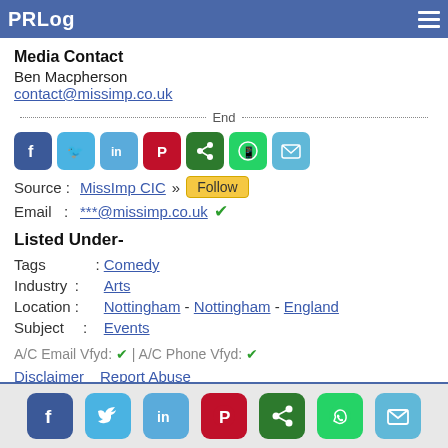PRLog
Media Contact
Ben Macpherson
contact@missimp.co.uk
End
[Figure (infographic): Row of social share icons: Facebook, Twitter, LinkedIn, Pinterest, Share, WhatsApp, Email]
Source : MissImp CIC » Follow
Email  : ***@missimp.co.uk ✓
Listed Under-
Tags      : Comedy
Industry : Arts
Location : Nottingham - Nottingham - England
Subject   : Events
A/C Email Vfyd: ✓ | A/C Phone Vfyd: ✓
Disclaimer   Report Abuse
Social share icons row at bottom